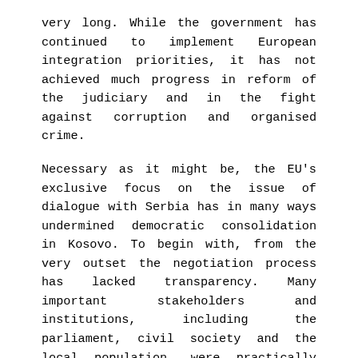very long. While the government has continued to implement European integration priorities, it has not achieved much progress in reform of the judiciary and in the fight against corruption and organised crime.
Necessary as it might be, the EU's exclusive focus on the issue of dialogue with Serbia has in many ways undermined democratic consolidation in Kosovo. To begin with, from the very outset the negotiation process has lacked transparency. Many important stakeholders and institutions, including the parliament, civil society and the local population, were practically excluded.
Second, by tying Kosovo's EU path to the dialogue with Serbia, the EU has enabled the government to circumvent criticism on its lack of reforms and poor results in the fight against corruption. Third,